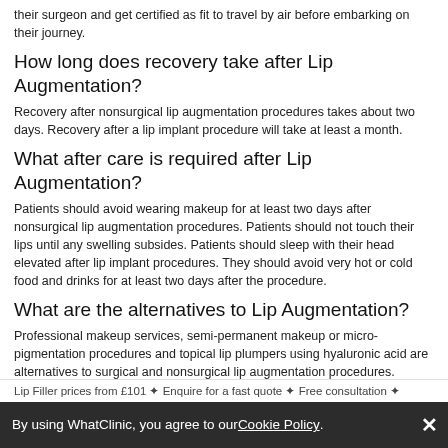their surgeon and get certified as fit to travel by air before embarking on their journey.
How long does recovery take after Lip Augmentation?
Recovery after nonsurgical lip augmentation procedures takes about two days. Recovery after a lip implant procedure will take at least a month.
What after care is required after Lip Augmentation?
Patients should avoid wearing makeup for at least two days after nonsurgical lip augmentation procedures. Patients should not touch their lips until any swelling subsides. Patients should sleep with their head elevated after lip implant procedures. They should avoid very hot or cold food and drinks for at least two days after the procedure.
What are the alternatives to Lip Augmentation?
Professional makeup services, semi-permanent makeup or micro-pigmentation procedures and topical lip plumpers using hyaluronic acid are alternatives to surgical and nonsurgical lip augmentation procedures.
We have all the information you need about public and private medical aesthetics clinics that provide lip filler in Llandaff. Compare all the medical aesthetics specialists and contact the lip filler clinic in Llandaff that's right for you.
Lip Filler prices from £101 ✦ Enquire for a fast quote ✦ Free consultation ✦
By using WhatClinic, you agree to our Cookie Policy.